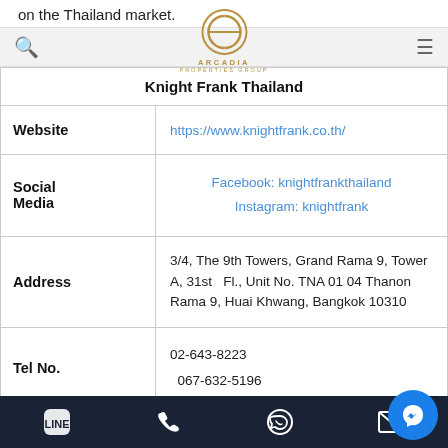on the Thailand market.
[Figure (logo): Arcadia Properties Group logo with circular icon and gold text]
| Field | Value |
| --- | --- |
| Knight Frank Thailand |  |
| Website | https://www.knightfrank.co.th/ |
| Social Media | Facebook: knightfrankthailand
Instagram: knightfrank |
| Address | 3/4, The 9th Towers, Grand Rama 9, Tower A, 31st Fl., Unit No. TNA 01 04 Thanon Rama 9, Huai Khwang, Bangkok 10310 |
| Tel No. | 02-643-8223
067-632-5196 |
[Figure (screenshot): Mobile app bottom navigation bar with LINE, phone, WhatsApp, email icons and Messenger floating button]